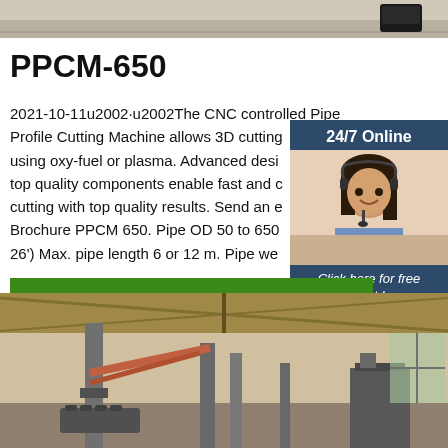[Figure (photo): Top partial photo showing floor with a shoe visible at right edge]
PPCM-650
2021-10-11u2002·u2002The CNC controlled Pipe Profile Cutting Machine allows 3D cutting using oxy-fuel or plasma. Advanced desi top quality components enable fast and cutting with top quality results. Send an e Brochure PPCM 650. Pipe OD 50 to 650 26') Max. pipe length 6 or 12 m. Pipe we
[Figure (photo): Customer service representative with headset - 24/7 Online chat widget overlay with quotation button]
[Figure (photo): Get Price button - green button]
[Figure (photo): Bottom photo showing industrial pipe profile cutting machine in a workshop/factory setting]